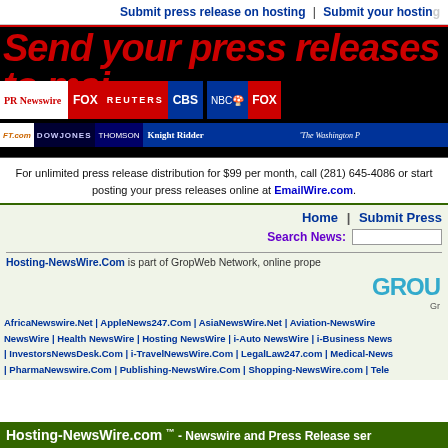Submit press release on hosting | Submit your hosting
[Figure (infographic): Banner ad: 'Send your press releases to maj' in large red bold italic text on black background, with media outlet logos including PR Newswire, FOX, Reuters, CBS, NBC, FOX, FT.com, Dow Jones, Thomson, Knight Ridder, The Washington Post]
For unlimited press release distribution for $99 per month, call (281) 645-4086 or start posting your press releases online at EmailWire.com.
Home | Submit Press
Search News:
Hosting-NewsWire.Com is part of GropWeb Network, online prope
[Figure (logo): GROU logo (GropWeb Network) in teal/blue-green with colored dot]
Gr
AfricaNewswire.Net | AppleNews247.Com | AsiaNewsWire.Net | Aviation-NewsWire | Health NewsWire | Hosting NewsWire | i-Auto NewsWire | i-Business News | InvestorsNewsDesk.Com | i-TravelNewsWire.Com | LegalLaw247.com | Medical-News | PharmaNewswire.Com | Publishing-NewsWire.Com | Shopping-NewsWire.com | Tele
Hosting-NewsWire.com ™ - Newswire and Press Release ser